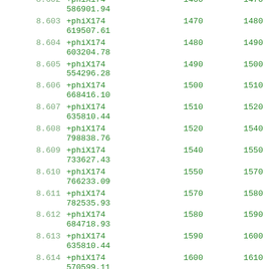| ID | Name / Value | Start | End |
| --- | --- | --- | --- |
| 8.602 | +phiX174 586901.94 | 1460 | 1470 |
| 8.603 | +phiX174 619507.61 | 1470 | 1480 |
| 8.604 | +phiX174 603204.78 | 1480 | 1490 |
| 8.605 | +phiX174 554296.28 | 1490 | 1500 |
| 8.606 | +phiX174 668416.10 | 1500 | 1510 |
| 8.607 | +phiX174 635810.44 | 1510 | 1520 |
| 8.608 | +phiX174 798838.76 | 1520 | 1540 |
| 8.609 | +phiX174 733627.43 | 1540 | 1550 |
| 8.610 | +phiX174 766233.09 | 1550 | 1570 |
| 8.611 | +phiX174 782535.93 | 1570 | 1580 |
| 8.612 | +phiX174 684718.93 | 1580 | 1590 |
| 8.613 | +phiX174 635810.44 | 1590 | 1600 |
| 8.614 | +phiX174 570599.11 | 1600 | 1610 |
| 8.615 | +phiX174 537993.45 | 1610 | 1620 |
| 8.616 | +phiX174 505387.79 | 1620 | 1630 |